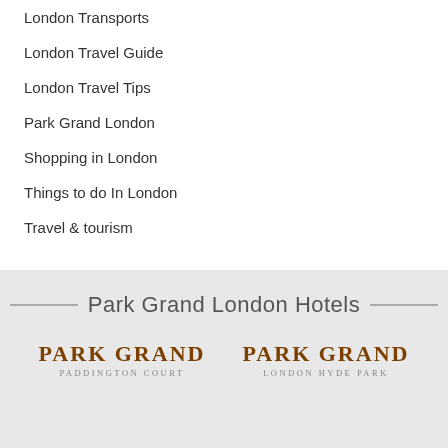London Transports
London Travel Guide
London Travel Tips
Park Grand London
Shopping in London
Things to do In London
Travel & tourism
Park Grand London Hotels
[Figure (logo): Park Grand Paddington Court hotel logo]
[Figure (logo): Park Grand London Hyde Park hotel logo]